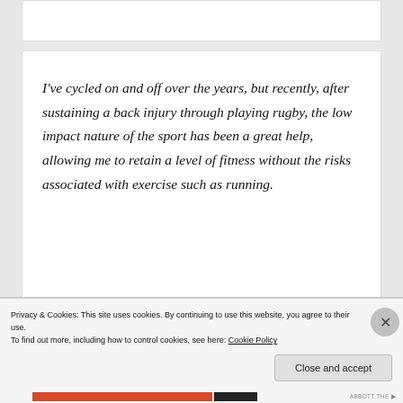I've cycled on and off over the years, but recently, after sustaining a back injury through playing rugby, the low impact nature of the sport has been a great help, allowing me to retain a level of fitness without the risks associated with exercise such as running.
Having the chance to use the Cycle to work
Privacy & Cookies: This site uses cookies. By continuing to use this website, you agree to their use.
To find out more, including how to control cookies, see here: Cookie Policy